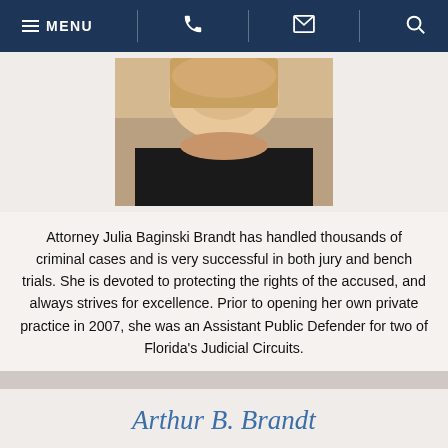MENU [phone] [email] [search]
[Figure (photo): Photo of Attorney Julia Baginski Brandt, a woman with blonde hair wearing a dark jacket]
Attorney Julia Baginski Brandt has handled thousands of criminal cases and is very successful in both jury and bench trials. She is devoted to protecting the rights of the accused, and always strives for excellence. Prior to opening her own private practice in 2007, she was an Assistant Public Defender for two of Florida's Judicial Circuits.
Arthur B. Brandt
[Figure (photo): Photo of Attorney Arthur B. Brandt, a man in formal attire]